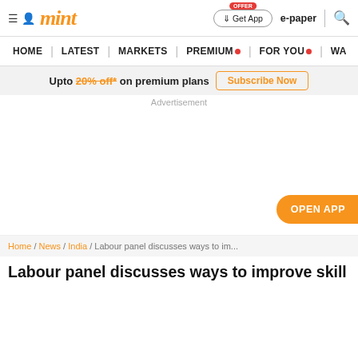mint
Upto 20% off* on premium plans Subscribe Now
Advertisement
OPEN APP
Home / News / India / Labour panel discusses ways to im...
Labour panel discusses ways to improve skill